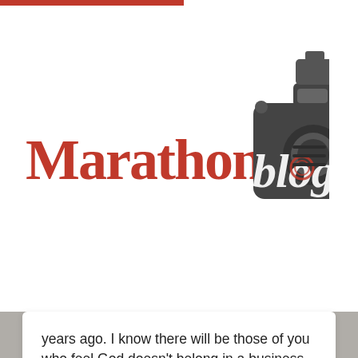[Figure (logo): Marathon blog logo with red Marathon text, heartbeat line, dark camera icon, and cursive blog text]
years ago. I know there will be those of you who feel God doesn't belong in a business blog post, but if…
Written by Suzette Allen
August 13, 2018